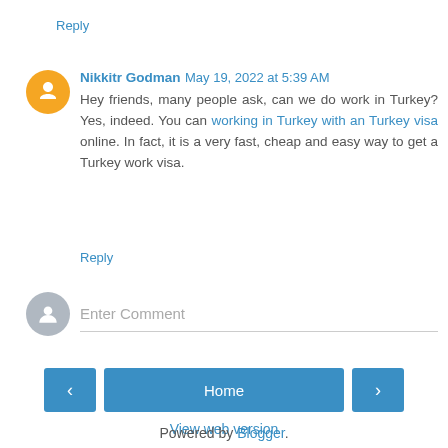Reply
Nikkitr Godman  May 19, 2022 at 5:39 AM
Hey friends, many people ask, can we do work in Turkey? Yes, indeed. You can working in Turkey with an Turkey visa online. In fact, it is a very fast, cheap and easy way to get a Turkey work visa.
Reply
Enter Comment
Home
View web version
Powered by Blogger.